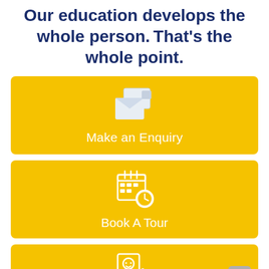Our education develops the whole person. That's the whole point.
[Figure (infographic): Yellow button card with mail/envelope icon and text 'Make an Enquiry']
[Figure (infographic): Yellow button card with calendar and clock icon and text 'Book A Tour']
[Figure (infographic): Yellow button card (partially visible) with application/form icon, partially cut off at bottom of page]